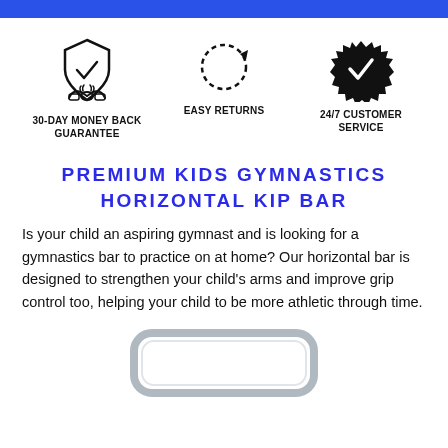[Figure (illustration): Three trust badge icons in a row: 30-Day Money Back Guarantee (handshake with shield), Easy Returns (circular arrows), 24/7 Customer Service (seal with checkmark)]
PREMIUM KIDS GYMNASTICS HORIZONTAL KIP BAR
Is your child an aspiring gymnast and is looking for a gymnastics bar to practice on at home? Our horizontal bar is designed to strengthen your child's arms and improve grip control too, helping your child to be more athletic through time.
[Figure (photo): Bottom portion of a gymnastics horizontal kip bar frame, silver/chrome colored, showing the rounded rectangular base structure]